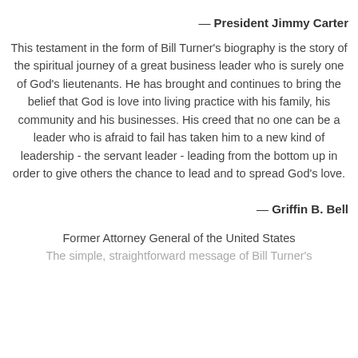— President Jimmy Carter
This testament in the form of Bill Turner's biography is the story of the spiritual journey of a great business leader who is surely one of God's lieutenants. He has brought and continues to bring the belief that God is love into living practice with his family, his community and his businesses. His creed that no one can be a leader who is afraid to fail has taken him to a new kind of leadership - the servant leader - leading from the bottom up in order to give others the chance to lead and to spread God's love.
— Griffin B. Bell
Former Attorney General of the United States
The simple, straightforward message of Bill Turner's